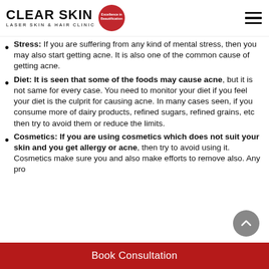CLEAR SKIN LASER SKIN & HAIR CLINIC
Stress: If you are suffering from any kind of mental stress, then you may also start getting acne. It is also one of the common cause of getting acne.
Diet: It is seen that some of the foods may cause acne, but it is not same for every case. You need to monitor your diet if you feel your diet is the culprit for causing acne. In many cases seen, if you consume more of dairy products, refined sugars, refined grains, etc then try to avoid them or reduce the limits.
Cosmetics: If you are using cosmetics which does not suit your skin and you get allergy or acne, then try to avoid using it. Cosmetics make sure you and also make efforts to remove also. Any products if
Book Consultation